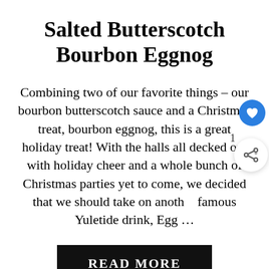Salted Butterscotch Bourbon Eggnog
Combining two of our favorite things – our bourbon butterscotch sauce and a Christmas treat, bourbon eggnog, this is a great holiday treat! With the halls all decked out with holiday cheer and a whole bunch of Christmas parties yet to come, we decided that we should take on another famous Yuletide drink, Egg …
READ MORE